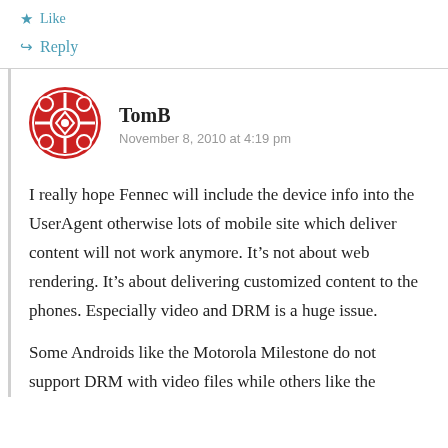Like
Reply
TomB
November 8, 2010 at 4:19 pm
I really hope Fennec will include the device info into the UserAgent otherwise lots of mobile site which deliver content will not work anymore. It’s not about web rendering. It’s about delivering customized content to the phones. Especially video and DRM is a huge issue.
Some Androids like the Motorola Milestone do not support DRM with video files while others like the